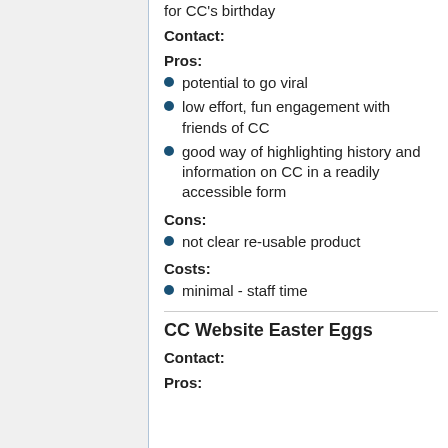for CC's birthday
Contact:
Pros:
potential to go viral
low effort, fun engagement with friends of CC
good way of highlighting history and information on CC in a readily accessible form
Cons:
not clear re-usable product
Costs:
minimal - staff time
CC Website Easter Eggs
Contact:
Pros: